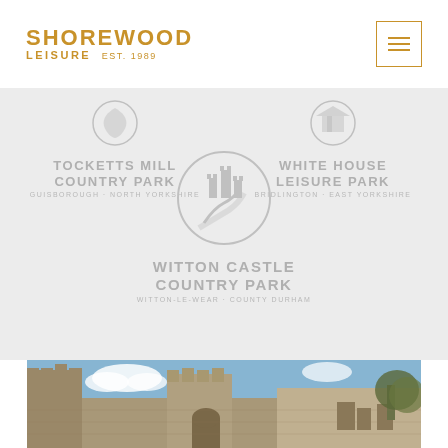[Figure (logo): Shorewood Leisure logo - SHOREWOOD in bold orange uppercase, LEISURE EST.1989 below in orange]
[Figure (logo): Tocketts Mill Country Park circular logo in grey, Guisborough North Yorkshire]
[Figure (logo): White House Leisure Park circular logo in grey, Bridlington East Yorkshire]
[Figure (logo): Witton Castle Country Park circular logo with castle illustration in grey, Witton-le-Wear County Durham]
[Figure (photo): Photograph of a stone castle (Witton Castle) with battlements and towers against a blue sky, showing Gothic arched entrance and stone masonry walls with trees on right side]